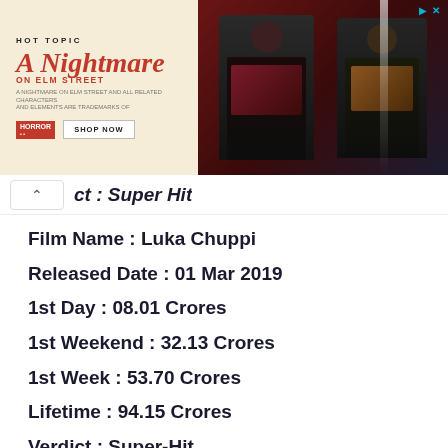[Figure (other): Hot Topic advertisement banner for 'A Nightmare on Elm Street' merchandise with two people in dark clothing against a red curtain background, with 'SHOP NOW' button]
ct : Super Hit
Film Name : Luka Chuppi
Released Date : 01 Mar 2019
1st Day : 08.01 Crores
1st Weekend : 32.13 Crores
1st Week : 53.70 Crores
Lifetime : 94.15 Crores
Verdict : Super-Hit
Film Name : Sonal...